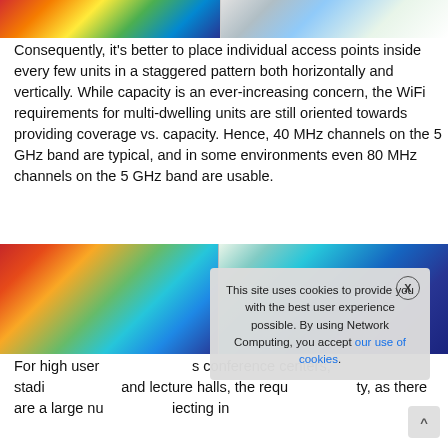[Figure (photo): Top two heatmap/coverage map images showing WiFi signal distribution across a building floor plan - left image shows warm colors (red/orange/yellow/green), right image shows cooler colors (blue/grey/white)]
Consequently, it's better to place individual access points inside every few units in a staggered pattern both horizontally and vertically. While capacity is an ever-increasing concern, the WiFi requirements for multi-dwelling units are still oriented towards providing coverage vs. capacity. Hence, 40 MHz channels on the 5 GHz band are typical, and in some environments even 80 MHz channels on the 5 GHz band are usable.
[Figure (photo): Bottom two heatmap/coverage map images - left shows warm color signal map, right shows cool blue color signal map of building floor plan]
For high user... s conference centers, stadi... and lecture halls, the requ... ty, as there are a large nu... iecting in